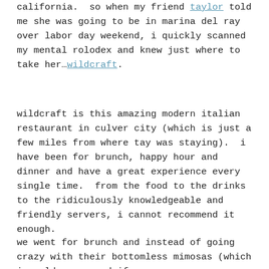california.  so when my friend taylor told me she was going to be in marina del ray over labor day weekend, i quickly scanned my mental rolodex and knew just where to take her…wildcraft.
wildcraft is this amazing modern italian restaurant in culver city (which is just a few miles from where tay was staying).  i have been for brunch, happy hour and dinner and have a great experience every single time.  from the food to the drinks to the ridiculously knowledgeable and friendly servers, i cannot recommend it enough.
we went for brunch and instead of going crazy with their bottomless mimosas (which i would recommend if